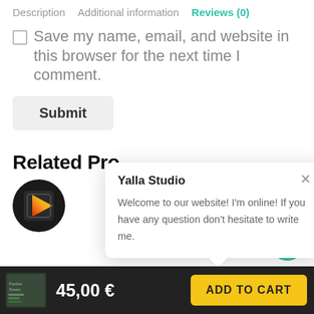Description   Additional information   Reviews (0)
Save my name, email, and website in this browser for the next time I comment.
Submit
Related Pro
[Figure (logo): Yalla Studio logo — dark circular badge with gradient play button icon (red/orange/yellow triangle)]
Yalla Studio
Welcome to our website! I'm online! If you have any question don't hesitate to write me.
45,00 €
ADD TO CART